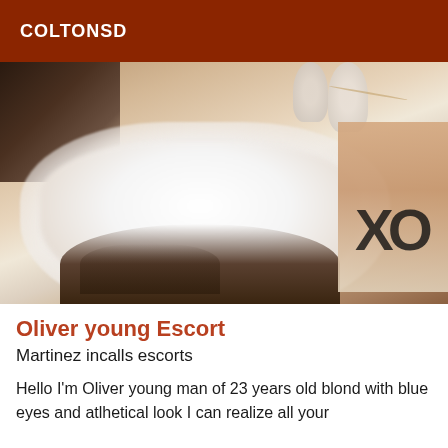COLTONSD
[Figure (photo): Person with tattoos holding a large white fluffy rabbit/animal, warm sepia-toned photo, clothing with 'XO' lettering visible on right side]
Oliver young Escort
Martinez incalls escorts
Hello I'm Oliver young man of 23 years old blond with blue eyes and atlhetical look I can realize all your